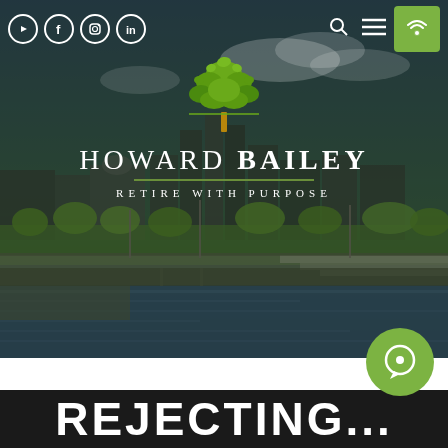[Figure (screenshot): Howard Bailey financial advisory firm website screenshot. Dark overlay hero section with city skyline (riverfront cityscape with buildings, trees, and water). Top navigation shows social media icons (YouTube, Facebook, Instagram, LinkedIn), search icon, hamburger menu, and green phone button. Center logo features a green tree icon above text 'HOWARD BAILEY' and tagline 'RETIRE WITH PURPOSE'. Bottom has a dark banner showing partial text 'REJECTING...' in large bold white letters. A green circular chat button appears at bottom right.]